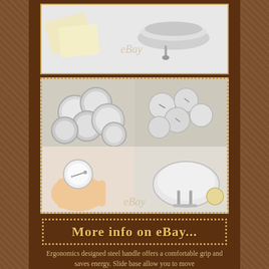[Figure (photo): Product photos showing button badge maker components: metal button shells, pin backs, and assembly tools on white background with eBay watermarks]
More info on eBay...
Ergonomics designed steel handle offers a comfortable grip and saves energy. Slide base allow you to move